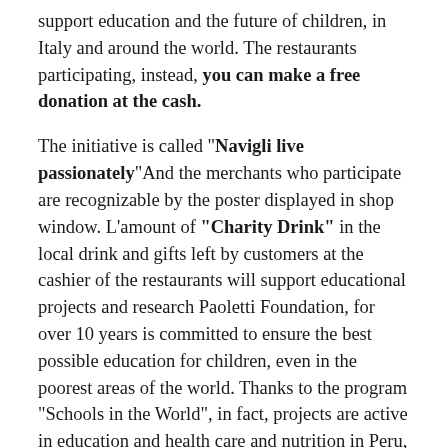support education and the future of children, in Italy and around the world. The restaurants participating, instead, you can make a free donation at the cash.
The initiative is called "Navigli live passionately"And the merchants who participate are recognizable by the poster displayed in shop window. L'amount of "Charity Drink" in the local drink and gifts left by customers at the cashier of the restaurants will support educational projects and research Paoletti Foundation, for over 10 years is committed to ensure the best possible education for children, even in the poorest areas of the world. Thanks to the program "Schools in the World", in fact, projects are active in education and health care and nutrition in Peru, Amazon, Congo, Indonesia e India.